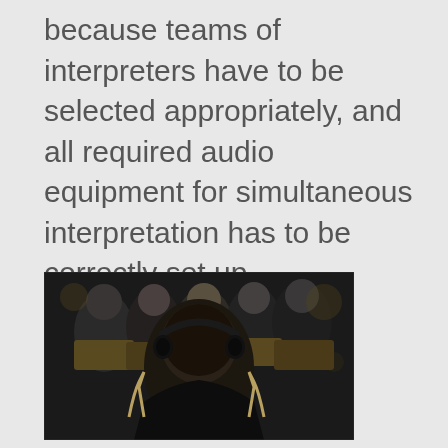because teams of interpreters have to be selected appropriately, and all required audio equipment for simultaneous interpretation has to be correctly set up.
[Figure (photo): Back view of people seated in formal chairs at a conference or ceremony, with at least one person wearing a headset for simultaneous interpretation. Crowd of attendees visible in the background.]
Photo: conference attendees with interpretation headsets